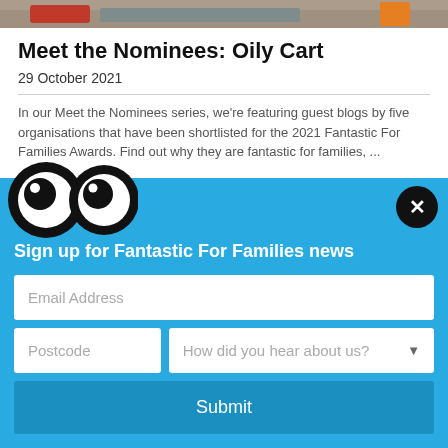[Figure (photo): Partial photo strip at top of page showing people or objects, partially cropped]
Meet the Nominees: Oily Cart
29 October 2021
In our Meet the Nominees series, we're featuring guest blogs by five organisations that have been shortlisted for the 2021 Fantastic For Families Awards. Find out why they are fantastic for families, ...
[Figure (illustration): Cartoon googly eyes illustration on blue background panel]
Sign up for Fantastic For Families news
Email Address (form field)
Postcode (form field), How did you hear about us? (dropdown)
Submit (button)